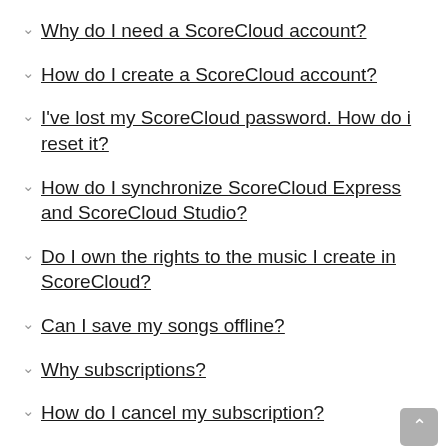Why do I need a ScoreCloud account?
How do I create a ScoreCloud account?
I've lost my ScoreCloud password. How do i reset it?
How do I synchronize ScoreCloud Express and ScoreCloud Studio?
Do I own the rights to the music I create in ScoreCloud?
Can I save my songs offline?
Why subscriptions?
How do I cancel my subscription?